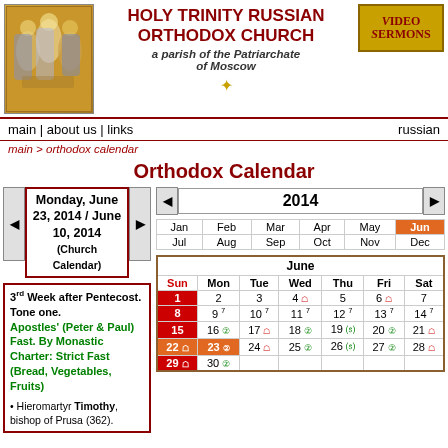HOLY TRINITY RUSSIAN ORTHODOX CHURCH
a parish of the Patriarchate of Moscow
[Figure (illustration): Orthodox icon of the Holy Trinity]
[Figure (logo): Video Sermons badge]
main | about us | links    russian
main > orthodox calendar
Orthodox Calendar
Monday, June 23, 2014 / June 10, 2014 (Church Calendar)
2014
3rd Week after Pentecost. Tone one.
Apostles' (Peter & Paul) Fast. By Monastic Charter: Strict Fast (Bread, Vegetables, Fruits)
| Jan | Feb | Mar | Apr | May | Jun | Jul | Aug | Sep | Oct | Nov | Dec |
| --- | --- | --- | --- | --- | --- | --- | --- | --- | --- | --- | --- |
| Jan | Feb | Mar | Apr | May | Jun |
| Jul | Aug | Sep | Oct | Nov | Dec |
| Sun | Mon | Tue | Wed | Thu | Fri | Sat |
| --- | --- | --- | --- | --- | --- | --- |
| 1 | 2 | 3 | 4 F | 5 | 6 F | 7 |
| 8 | 9 7 | 10 7 | 11 7 | 12 7 | 13 7 | 14 7 |
| 15 | 16 S | 17 F | 18 S | 19 O | 20 S | 21 F |
| 22 F | 23 S | 24 F | 25 S | 26 O | 27 S | 28 F |
| 29 F | 30 S |  |  |  |  |  |
Hieromartyr Timothy, bishop of Prusa (362).